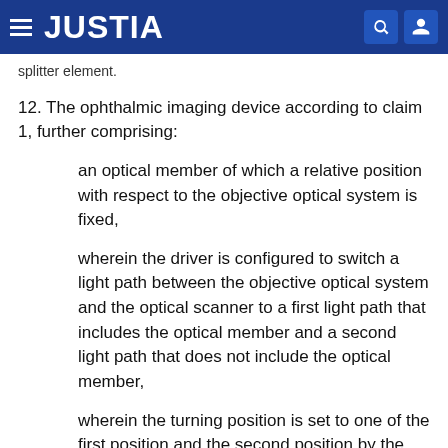JUSTIA
splitter element.
12. The ophthalmic imaging device according to claim 1, further comprising:
an optical member of which a relative position with respect to the objective optical system is fixed,
wherein the driver is configured to switch a light path between the objective optical system and the optical scanner to a first light path that includes the optical member and a second light path that does not include the optical member,
wherein the turning position is set to one of the first position and the second position by the light path being set to the first light path, and
wherein the turning position is set to the other one